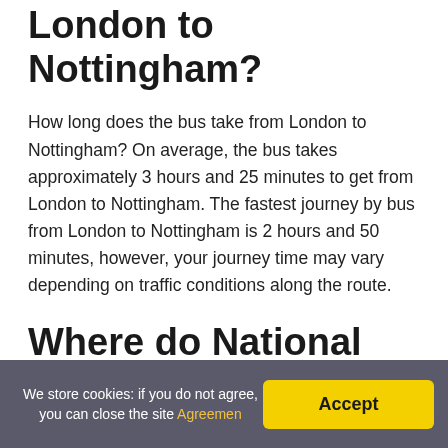London to Nottingham?
How long does the bus take from London to Nottingham? On average, the bus takes approximately 3 hours and 25 minutes to get from London to Nottingham. The fastest journey by bus from London to Nottingham is 2 hours and 50 minutes, however, your journey time may vary depending on traffic conditions along the route.
Where do National Express coaches go to?
Our coaches frequently depart to exciting European destinations such as Paris and Brussels for a perfect getaway. Or, if you're looking for a simple and convenient way
We store cookies: if you do not agree, you can close the site Agreemen